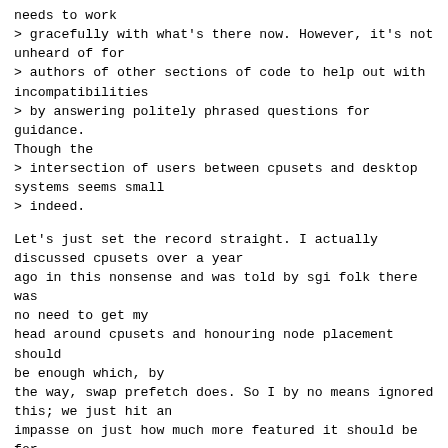needs to work
> gracefully with what's there now. However, it's not unheard of for
> authors of other sections of code to help out with incompatibilities
> by answering politely phrased questions for guidance. Though the
> intersection of users between cpusets and desktop systems seems small
> indeed.
Let's just set the record straight. I actually discussed cpusets over a year
ago in this nonsense and was told by sgi folk there was no need to get my
head around cpusets and honouring node placement should be enough which, by
the way, swap prefetch does. So I by no means ignored this; we just hit an
impasse on just how much more featured it should be for the sake of a goddamn
home desktop pc feature.
Anyway why the hell am I resurrecting this thread? The code is declared dead
already. Leave it be.
--
-ck
-